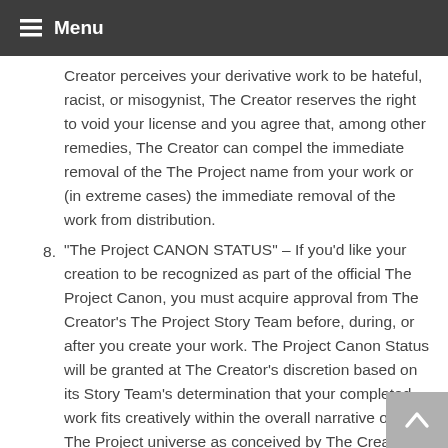Menu
Creator perceives your derivative work to be hateful, racist, or misogynist, The Creator reserves the right to void your license and you agree that, among other remedies, The Creator can compel the immediate removal of the The Project name from your work or (in extreme cases) the immediate removal of the work from distribution.
8. “The Project CANON STATUS” – If you’d like your creation to be recognized as part of the official The Project Canon, you must acquire approval from The Creator’s The Project Story Team before, during, or after you create your work. The Project Canon Status will be granted at The Creator’s discretion based on its Story Team’s determination that your completed work fits creatively within the overall narrative of the The Project universe as conceived by The Creator. Yes, this is vague—but we can’t make it more specific. It’s at The Creator’s discretion. The advantage of receiving The Project Canon Status is you can use the The Project Canon stamp on your official The